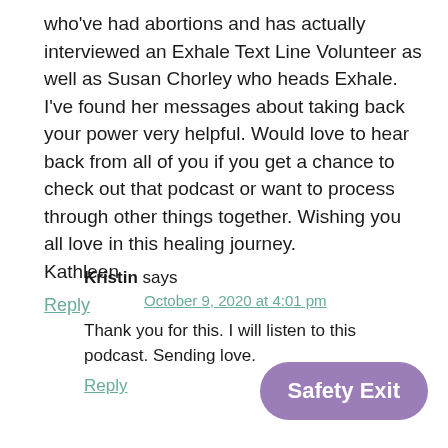who've had abortions and has actually interviewed an Exhale Text Line Volunteer as well as Susan Chorley who heads Exhale. I've found her messages about taking back your power very helpful. Would love to hear back from all of you if you get a chance to check out that podcast or want to process through other things together. Wishing you all love in this healing journey.
Kathleen
Reply
Kristin says
October 9, 2020 at 4:01 pm
Thank you for this. I will listen to this podcast. Sending love.
Reply
[Figure (other): Safety Exit button - rounded rectangle with purple background and white text reading 'Safety Exit']